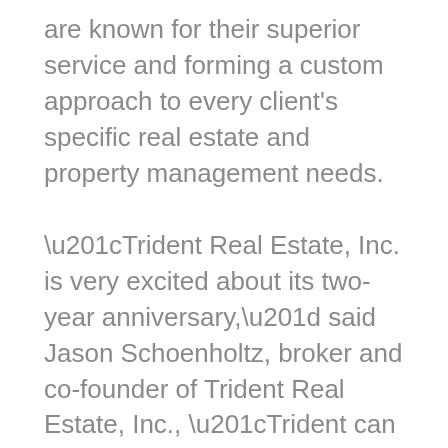are known for their superior service and forming a custom approach to every client's specific real estate and property management needs.
“Trident Real Estate, Inc. is very excited about its two-year anniversary,” said Jason Schoenholtz, broker and co-founder of Trident Real Estate, Inc., “Trident can continue to offer a top-of-the-line experience to all of our clients through the latest in technology.” They offer 24/7 emergency dispatch services, a management office that is